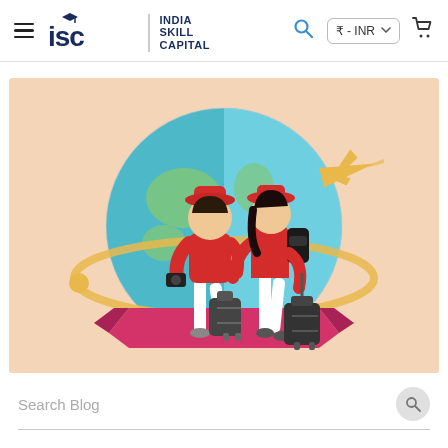[Figure (logo): ISC India Skill Capital logo with hamburger menu, search icon, INR currency selector, and cart icon in a navigation bar]
[Figure (illustration): Travel illustration showing two tourists in red outfits with hats, one carrying a camera and one with a backpack, both pulling luggage, standing in front of a globe with an airplane flying around it, on a peach/salmon background with a pink ribbon banner]
Search Blog